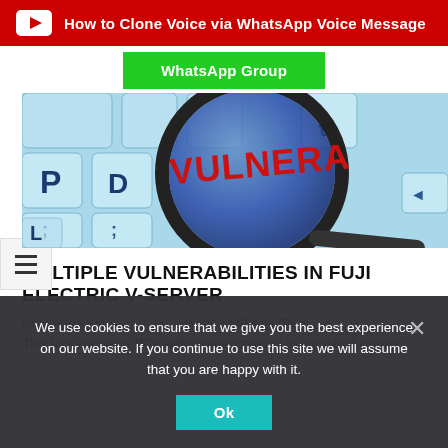[Figure (screenshot): YouTube-style red banner with play icon and text: How to Clone Voice via WhatsApp Voice Message]
WhatsApp Group
[Figure (photo): Close-up photo of a magnifying glass over a keyboard, with the word VULNERA(BILITIES) in red text visible under the magnifying glass lens]
MULTIPLE VULNERABILITIES IN FUJI ELECTRIC V-SERVER
ON:  SEPTEMBER 15, 2018  /  IN:  VULNERABILITIES
This tool connects PCs within organizations to industrial control
We use cookies to ensure that we give you the best experience on our website. If you continue to use this site we will assume that you are happy with it.
Ok